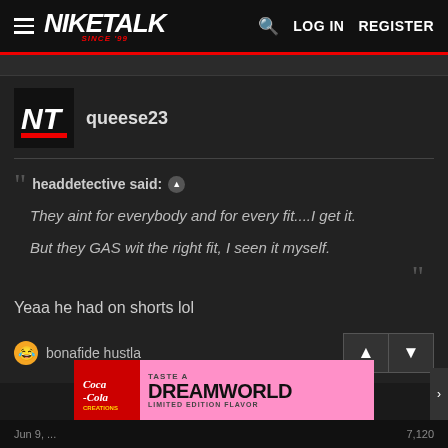NIKETALK SINCE 99 — LOG IN REGISTER
queese23
headdetective said: ↑ They aint for everybody and for every fit....I get it. But they GAS wit the right fit, I seen it myself.
Yeaa he had on shorts lol
bonafide hustla
[Figure (screenshot): Ad banner: Coca-Cola DREAMWORLD LIMITED EDITION FLAVOR]
Jun 9, ... 7,120